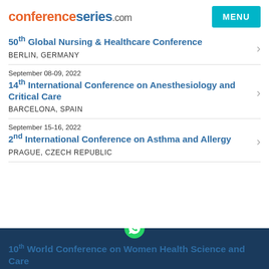conferenceseries.com
50th Global Nursing & Healthcare Conference
BERLIN, GERMANY
September 08-09, 2022
14th International Conference on Anesthesiology and Critical Care
BARCELONA, SPAIN
September 15-16, 2022
2nd International Conference on Asthma and Allergy
PRAGUE, CZECH REPUBLIC
10th World Conference on Women Health Science and Care